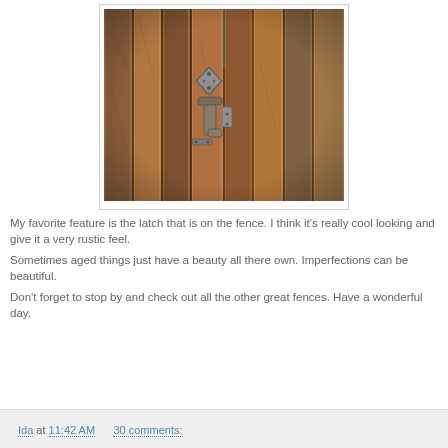[Figure (photo): Close-up photograph of a wooden fence with a rustic metal latch/lock mechanism in the center. The fence boards are weathered wood in brown and orange tones.]
My favorite feature is the latch that is on the fence.  I think it's really cool looking and give it a very rustic feel.
Sometimes aged things just have a beauty all there own.  Imperfections can be beautiful.
Don't forget to stop by and check out all the other great fences.  Have a wonderful day.
Ida at 11:42 AM    30 comments: